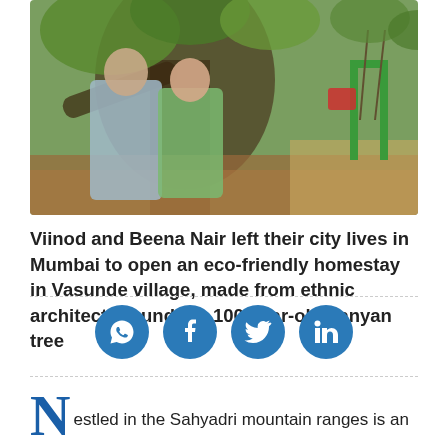[Figure (photo): An elderly couple, a man in a light blue shirt with white beard and a woman in a green saree, stand together in front of a large banyan tree. The ground is wet mud. A swing and green metal structure are visible in the background.]
Viinod and Beena Nair left their city lives in Mumbai to open an eco-friendly homestay in Vasunde village, made from ethnic architecture under a 100-year-old banyan tree
[Figure (infographic): Social sharing buttons: WhatsApp, Facebook, Twitter, LinkedIn — four blue circular icons in a row]
Nestled in the Sahyadri mountain ranges is an